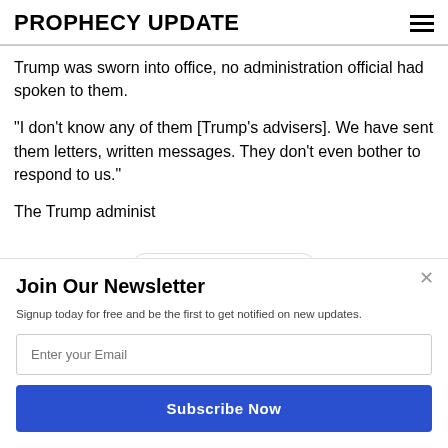PROPHECY UPDATE
Trump was sworn into office, no administration official had spoken to them.
"I don't know any of them [Trump's advisers]. We have sent them letters, written messages. They don't even bother to respond to us."
The Trump administr... of the PLO is a
Join Our Newsletter
Signup today for free and be the first to get notified on new updates.
Enter your Email
Subscribe Now